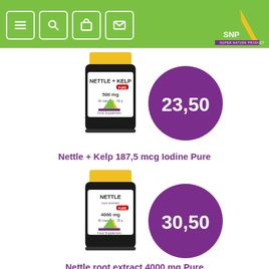SNP Super Nature Products - navigation bar with menu, search, bag, mail icons
[Figure (photo): SNP Nettle + Kelp 500mg supplement bottle with yellow cap, black label, price badge showing 23,50 in purple circle]
Nettle + Kelp 187,5 mcg Iodine Pure
[Figure (photo): SNP Nettle root extract 4000mg supplement bottle with yellow cap, black label, price badge showing 30,50 in purple circle]
Nettle root extract 4000 mg Pure